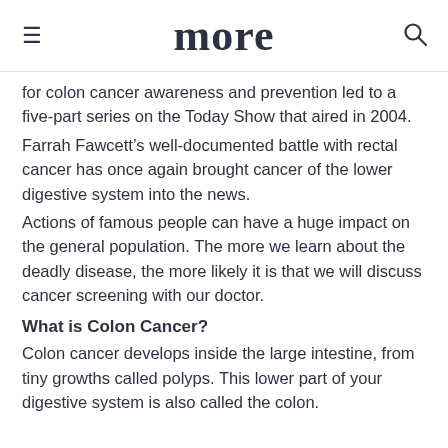more
for colon cancer awareness and prevention led to a five-part series on the Today Show that aired in 2004.
Farrah Fawcett’s well-documented battle with rectal cancer has once again brought cancer of the lower digestive system into the news.
Actions of famous people can have a huge impact on the general population. The more we learn about the deadly disease, the more likely it is that we will discuss cancer screening with our doctor.
What is Colon Cancer?
Colon cancer develops inside the large intestine, from tiny growths called polyps. This lower part of your digestive system is also called the colon.